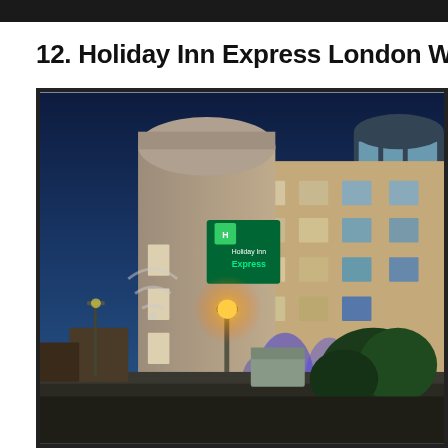[Figure (photo): Dark top navigation bar of a website]
12. Holiday Inn Express London Wandsworth Deal
[Figure (photo): Nighttime exterior photograph of Holiday Inn Express London Wandsworth hotel building, showing the illuminated facade with green Holiday Inn Express logo sign, amber street light, blue accent lighting at building base, and trees in foreground against a deep blue twilight sky.]